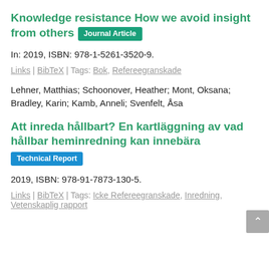Knowledge resistance How we avoid insight from others [Journal Article]
In: 2019, ISBN: 978-1-5261-3520-9.
Links | BibTeX | Tags: Bok, Refereegranskade
Lehner, Matthias; Schoonover, Heather; Mont, Oksana; Bradley, Karin; Kamb, Anneli; Svenfelt, Åsa
Att inreda hållbart? En kartläggning av vad hållbar heminredning kan innebära [Technical Report]
2019, ISBN: 978-91-7873-130-5.
Links | BibTeX | Tags: Icke Refereegranskade, Inredning, Vetenskaplig rapport